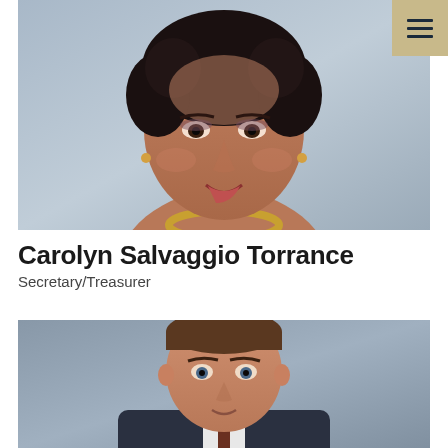[Figure (photo): Portrait photo of Carolyn Salvaggio Torrance, a woman with short dark curly hair, wearing a black outfit and gold chain necklace, smiling, against a blue-grey background.]
Carolyn Salvaggio Torrance
Secretary/Treasurer
[Figure (photo): Portrait photo of a man with short brown hair, wearing a suit, against a blue-grey background.]